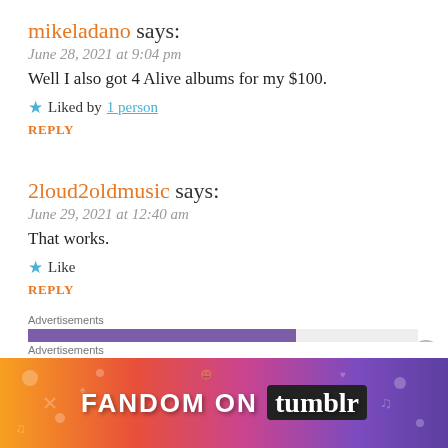mikeladano says:
June 28, 2021 at 9:04 pm
Well I also got 4 Alive albums for my $100.
★ Liked by 1 person
REPLY
2loud2oldmusic says:
June 29, 2021 at 12:40 am
That works.
★ Like
REPLY
Advertisements
[Figure (other): Purple advertisement bar with grey background]
Advertisements
[Figure (other): Fandom on Tumblr banner advertisement with colorful gradient background]